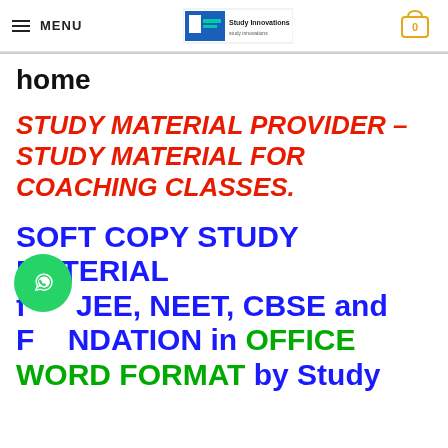MENU | Study Innovations logo | Cart 0
home
STUDY MATERIAL PROVIDER – STUDY MATERIAL FOR COACHING CLASSES.
SOFT COPY STUDY MATERIAL for JEE, NEET, CBSE and FOUNDATION in OFFICE WORD FORMAT by Study